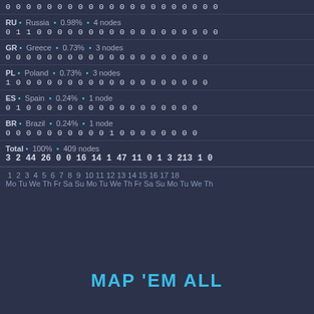| (partial row) 0 0 0 0 0 0 0 0 0 0 0 0 0 0 0 0 0 0 0 |
| RU • Russia • 0.98% • 4 nodes | 0 1 1 0 0 0 0 0 0 0 0 0 0 0 0 0 0 0 0 0 0 |
| GR • Greece • 0.73% • 3 nodes | 0 0 0 0 0 0 0 0 0 0 0 0 0 0 0 0 0 0 0 0 |
| PL • Poland • 0.73% • 3 nodes | 1 0 0 0 0 0 0 0 0 0 0 0 0 0 0 0 0 0 0 0 |
| ES • Spain • 0.24% • 1 node | 0 1 0 0 0 0 0 0 0 0 0 0 0 0 0 0 0 0 0 |
| BR • Brazil • 0.24% • 1 node | 0 0 0 0 0 0 0 0 0 0 1 0 0 0 0 0 0 0 0 |
| Total • 100% • 409 nodes | 3 2 44 26 0 0 16 14 1 47 11 0 1 3 213 1 0 |
1 2 3 4 5 6 7 8 9 10 11 12 13 14 15 16 17 18
Mo Tu We Th Fr Sa Su Mo Tu We Th Fr Sa Su Mo Tu We Th
MAP 'EM ALL